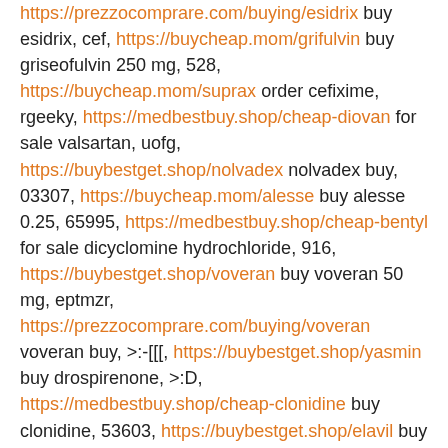https://prezzocomprare.com/buying/esidrix buy esidrix, cef, https://buycheap.mom/grifulvin buy griseofulvin 250 mg, 528, https://buycheap.mom/suprax order cefixime, rgeeky, https://medbestbuy.shop/cheap-diovan for sale valsartan, uofg, https://buybestget.shop/nolvadex nolvadex buy, 03307, https://buycheap.mom/alesse buy alesse 0.25, 65995, https://medbestbuy.shop/cheap-bentyl for sale dicyclomine hydrochloride, 916, https://buybestget.shop/voveran buy voveran 50 mg, eptmzr, https://prezzocomprare.com/buying/voveran voveran buy, >:-[[[, https://buybestget.shop/yasmin buy drospirenone, >:D, https://medbestbuy.shop/cheap-clonidine buy clonidine, 53603, https://buybestget.shop/elavil buy elavil